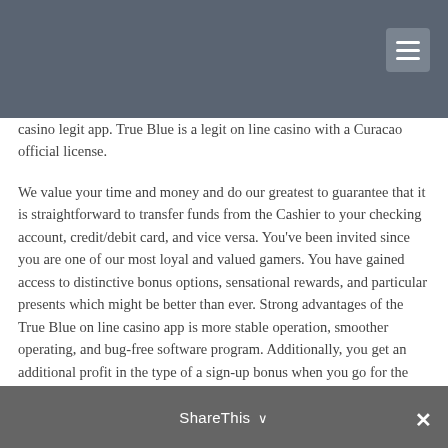casino legit app. True Blue is a legit on line casino with a Curacao official license.
We value your time and money and do our greatest to guarantee that it is straightforward to transfer funds from the Cashier to your checking account, credit/debit card, and vice versa. You've been invited since you are one of our most loyal and valued gamers. You have gained access to distinctive bonus options, sensational rewards, and particular presents which might be better than ever. Strong advantages of the True Blue on line casino app is more stable operation, smoother operating, and bug-free software program. Additionally, you get an additional profit in the type of a sign-up bonus when you go for the app. For these reasons, many people prefer True Blue casino download for
ShareThis ✕